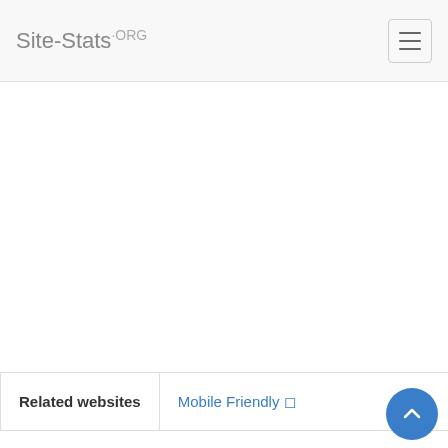Site-Stats.ORG
Related websites
Mobile Friendly 🖥